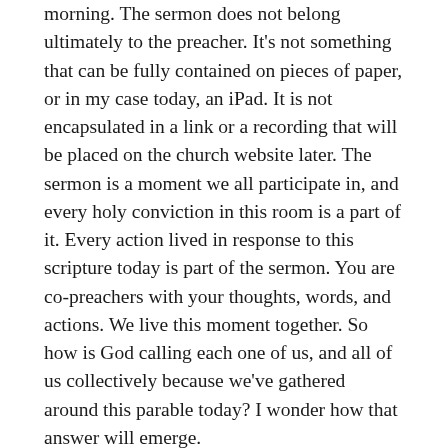morning. The sermon does not belong ultimately to the preacher. It's not something that can be fully contained on pieces of paper, or in my case today, an iPad. It is not encapsulated in a link or a recording that will be placed on the church website later. The sermon is a moment we all participate in, and every holy conviction in this room is a part of it. Every action lived in response to this scripture today is part of the sermon. You are co-preachers with your thoughts, words, and actions. We live this moment together. So how is God calling each one of us, and all of us collectively because we've gathered around this parable today? I wonder how that answer will emerge.
I will lift up one particular observation about this parable. Most weeks, I listen to a wonderful podcast. It's called the Pulpit Fiction Podcast. The two co-hosts of the show delve into the scriptures which are about to appear in Sunday worship. They call their show "the time...